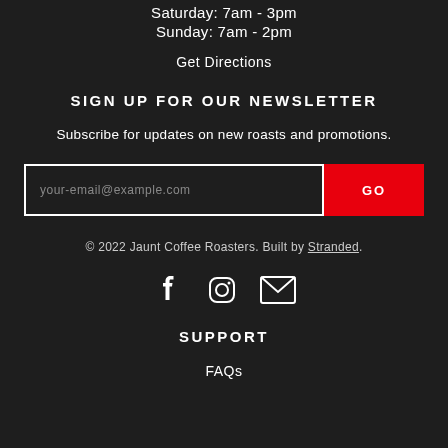Saturday: 7am - 3pm
Sunday: 7am - 2pm
Get Directions
SIGN UP FOR OUR NEWSLETTER
Subscribe for updates on new roasts and promotions.
your-email@example.com  GO
© 2022 Jaunt Coffee Roasters. Built by Stranded.
[Figure (illustration): Social media icons: Facebook, Instagram, Email]
SUPPORT
FAQs